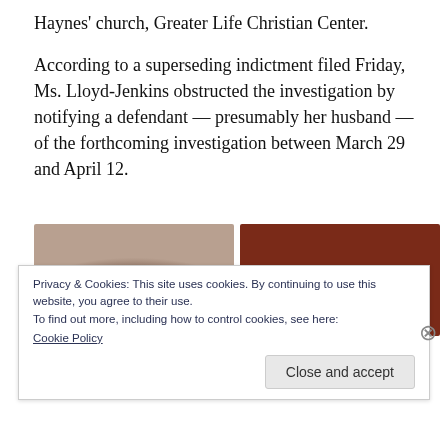Haynes' church, Greater Life Christian Center.
According to a superseding indictment filed Friday, Ms. Lloyd-Jenkins obstructed the investigation by notifying a defendant — presumably her husband — of the forthcoming investigation between March 29 and April 12.
[Figure (photo): Two side-by-side photos: left shows top of a person's head (bald, dark skin), right shows a dark reddish-brown background or surface.]
Privacy & Cookies: This site uses cookies. By continuing to use this website, you agree to their use.
To find out more, including how to control cookies, see here:
Cookie Policy
Close and accept